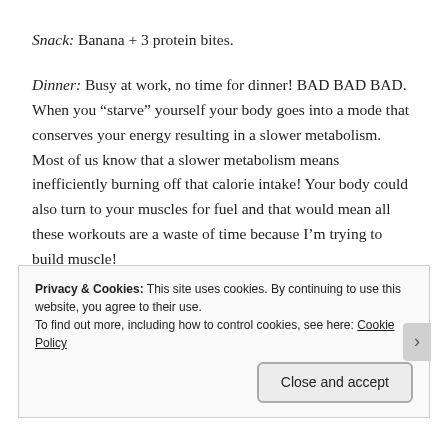Snack: Banana + 3 protein bites.
Dinner: Busy at work, no time for dinner! BAD BAD BAD. When you “starve” yourself your body goes into a mode that conserves your energy resulting in a slower metabolism. Most of us know that a slower metabolism means inefficiently burning off that calorie intake! Your body could also turn to your muscles for fuel and that would mean all these workouts are a waste of time because I’m trying to build muscle!
Privacy & Cookies: This site uses cookies. By continuing to use this website, you agree to their use.
To find out more, including how to control cookies, see here: Cookie Policy
Close and accept